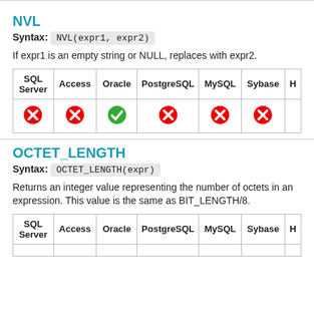NVL
Syntax: NVL(expr1, expr2)
If expr1 is an empty string or NULL, replaces with expr2.
| SQL Server | Access | Oracle | PostgreSQL | MySQL | Sybase | H |
| --- | --- | --- | --- | --- | --- | --- |
| ✗ | ✗ | ✓ | ✗ | ✗ | ✗ |  |
OCTET_LENGTH
Syntax: OCTET_LENGTH(expr)
Returns an integer value representing the number of octets in an expression. This value is the same as BIT_LENGTH/8.
| SQL Server | Access | Oracle | PostgreSQL | MySQL | Sybase | H |
| --- | --- | --- | --- | --- | --- | --- |
|  |  |  |  |  |  |  |